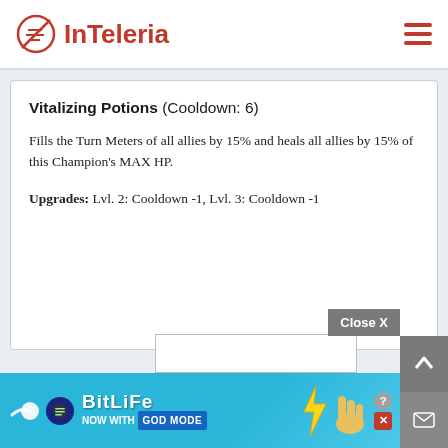InTeleria
Vitalizing Potions (Cooldown: 6)
Fills the Turn Meters of all allies by 15% and heals all allies by 15% of this Champion's MAX HP.
Upgrades: Lvl. 2: Cooldown -1, Lvl. 3: Cooldown -1
[Figure (screenshot): BitLife advertisement banner with 'NOW WITH GOD MODE' text on a blue background]
Close X